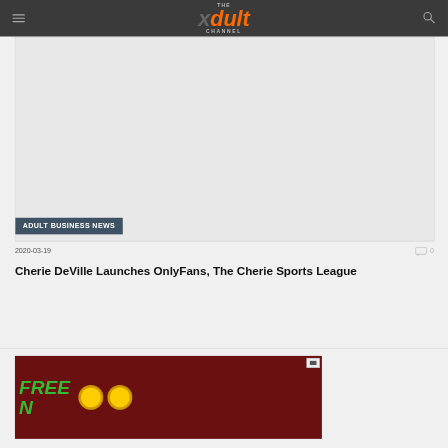THE xdult CHANNEL
[Figure (photo): Article thumbnail image placeholder (grey rectangle) with 'ADULT BUSINESS NEWS' category badge overlay at bottom left]
2020-03-19
0
Cherie DeVille Launches OnlyFans, The Cherie Sports League
[Figure (photo): Advertisement banner with dark red/maroon background, green text 'FREE' and orange coin graphics visible at bottom of page]